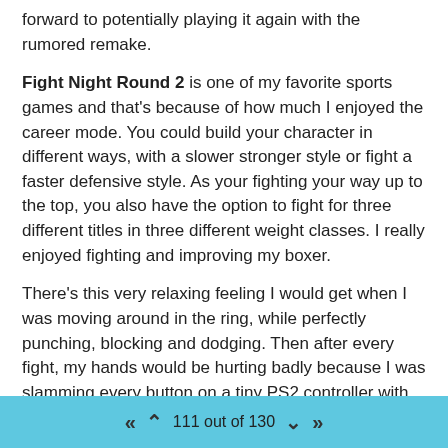forward to potentially playing it again with the rumored remake.
Fight Night Round 2 is one of my favorite sports games and that's because of how much I enjoyed the career mode. You could build your character in different ways, with a slower stronger style or fight a faster defensive style. As your fighting your way up to the top, you also have the option to fight for three different titles in three different weight classes. I really enjoyed fighting and improving my boxer.
There's this very relaxing feeling I would get when I was moving around in the ring, while perfectly punching, blocking and dodging. Then after every fight, my hands would be hurting badly because I was slamming every button on a tiny PS2 controller with my oversized hands! The Fight Night games are great fun and Round 2 was a strong GOTY contender for me.
I played and finished Jade Empire for the first time this year back in January. I was curious about this game because it was made by BioWare and I'm a big fan of Mass Effect and Dragon Age. It definitely looks and feels like an old game, but they did a decent job with the martial arts combat and the mythological Chinese story was
111 out of 130